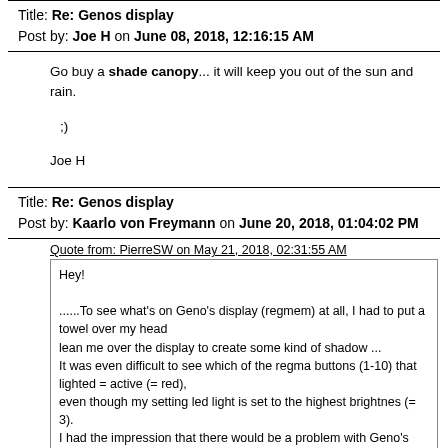Title: Re: Genos display
Post by: Joe H on June 08, 2018, 12:16:15 AM
Go buy a shade canopy... it will keep you out of the sun and rain.

;)

Joe H
Title: Re: Genos display
Post by: Kaarlo von Freymann on June 20, 2018, 01:04:02 PM
Quote from: PierreSW on May 21, 2018, 02:31:55 AM
Hey!

......To see what's on Geno's display (regmem) at all, I had to put a towel over my head
lean me over the display to create some kind of shadow ...
It was even difficult to see which of the regma buttons (1-10) that lighted = active (= red),
even though my setting led light is set to the highest brightnes (= 3).
I had the impression that there would be a problem with Geno's display in SUNLIGHT.
With Tyros there was also a problem with this, but with Genos it's almost impossible to see anything at all,
Much in this also depends on the fact that in Genos the background color (for Regmem) is black and the text in white color.
In Tyros, on the other hand, it is a larger font for text.[/b][/i]

My answer to him:
Yes, it is strange that there are no better screens on the GENOS 2018 flagship.
It's not everyone who is indoors all the time, sometimes you play outdoors.